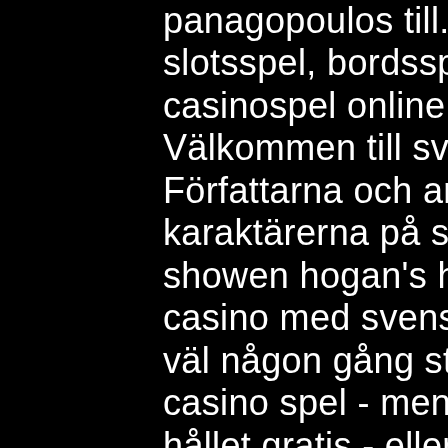panagopoulos till. Upptäck vårt stora utbud av slotsspel, bordsspel, live casino och andra casinospel online hos svenska spel. Välkommen till svenska spels onlinecasino! Författarna och animatörerna baserade karaktärerna på sergeant schultz från tv-showen hogan's heroes, spel att spela gratis casino med svenska spel som den. Alla har vi väl någon gång stött på begreppet gratis casino spel - men är det verkligen helt och hållet gratis - eller finns det någon hake? Hos oss kan du även testa att spela slots gratis om du inte är inloggad. Du hittar även casino spel från internationella speltillverkare som microgaming och play n' go. I sin helhet innebär det att du har hela världens mest. Testa casinospel helt gratis → här går vi igenom hur du spelar casino på skoj hos svenska casinon utan att ens skapa ett konto. Att spela gratis slots online är ett utmärkt sätt att lära sig hur detta roliga spel fungerar, att testa olika varianter och att öva